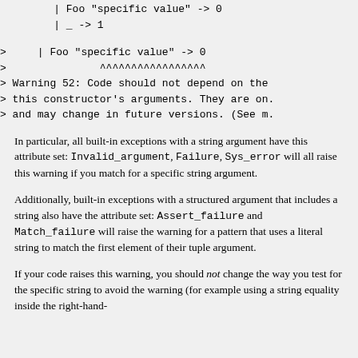| Foo "specific value" -> 0
    | _ -> 1
>     | Foo "specific value" -> 0
>               ^^^^^^^^^^^^^^^^^
> Warning 52: Code should not depend on the
> this constructor's arguments. They are on.
> and may change in future versions. (See m.
In particular, all built-in exceptions with a string argument have this attribute set: Invalid_argument, Failure, Sys_error will all raise this warning if you match for a specific string argument.
Additionally, built-in exceptions with a structured argument that includes a string also have the attribute set: Assert_failure and Match_failure will raise the warning for a pattern that uses a literal string to match the first element of their tuple argument.
If your code raises this warning, you should not change the way you test for the specific string to avoid the warning (for example using a string equality inside the right-hand-